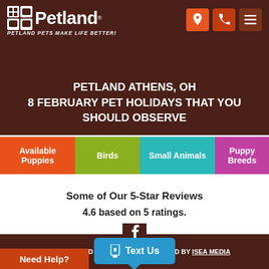Petland — PETLAND PETS MAKE LIFE BETTER!
PETLAND ATHENS, OH
8 FEBRUARY PET HOLIDAYS THAT YOU SHOULD OBSERVE
Available Puppies
Birds
Small Animals
Puppy Breeds
Some of Our 5-Star Reviews
4.6 based on 5 ratings.
© 2022 PETLAND ATHENS, OH. DEVELOPED BY ISEA MEDIA